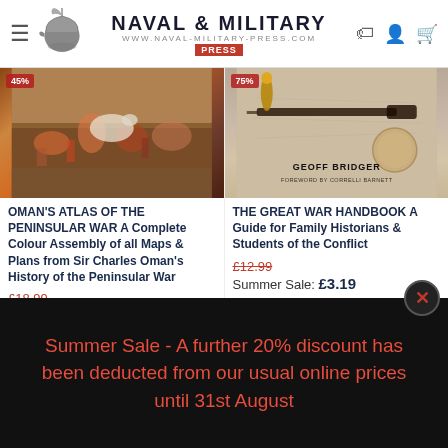Naval & Military Press — www.naval-military-press.com
[Figure (photo): Book cover image: battle scene painting for Oman's Atlas of the Peninsular War]
OMAN'S ATLAS OF THE PENINSULAR WAR A Complete Colour Assembly of all Maps & Plans from Sir Charles Oman's History of the Peninsular War
£18.99
Summer Sale: £10.39
ADD TO BASKET
[Figure (photo): Book cover image: rifle and bullet for The Great War Handbook, by Geoff Bridger, Foreword by Correlli Barnett]
THE GREAT WAR HANDBOOK A Guide for Family Historians & Students of the Conflict
£12.99
Summer Sale: £3.19
ADD TO BASKET
Summer Sale - A further 20% discount has been deducted from our usual online prices until 31st August